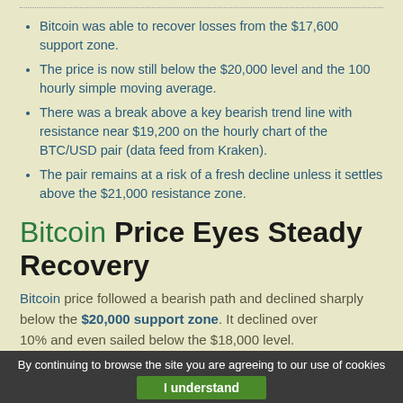Bitcoin was able to recover losses from the $17,600 support zone.
The price is now still below the $20,000 level and the 100 hourly simple moving average.
There was a break above a key bearish trend line with resistance near $19,200 on the hourly chart of the BTC/USD pair (data feed from Kraken).
The pair remains at a risk of a fresh decline unless it settles above the $21,000 resistance zone.
Bitcoin Price Eyes Steady Recovery
Bitcoin price followed a bearish path and declined sharply below the $20,000 support zone. It declined over 10% and even sailed below the $18,000 level.
By continuing to browse the site you are agreeing to our use of cookies